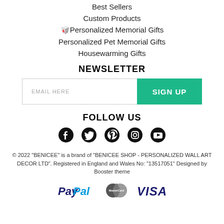Best Sellers
Custom Products
🎁Personalized Memorial Gifts
Personalized Pet Memorial Gifts
Housewarming Gifts
NEWSLETTER
EMAIL HERE | SIGN UP
FOLLOW US
[Figure (infographic): Social media icons: Facebook, Twitter, Pinterest, Instagram, YouTube]
© 2022 "BENICEE" is a brand of "BENICEE SHOP - PERSONALIZED WALL ART DECOR LTD". Registered in England and Wales No: "13517051" Designed by Booster theme
[Figure (infographic): Payment icons: PayPal, MasterCard, VISA]